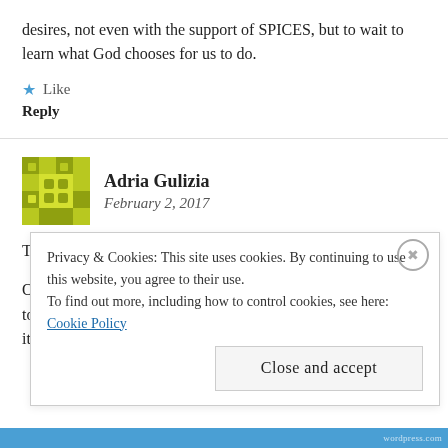desires, not even with the support of SPICES, but to wait to learn what God chooses for us to do.
★ Like
Reply
Adria Gulizia
February 2, 2017
Thank you, Margaret, for this:
Our new administration is offering us a smorgasbord of things to disobey, and it is tempting to just pick an element and go for it...
Privacy & Cookies: This site uses cookies. By continuing to use this website, you agree to their use.
To find out more, including how to control cookies, see here:
Cookie Policy
Close and accept